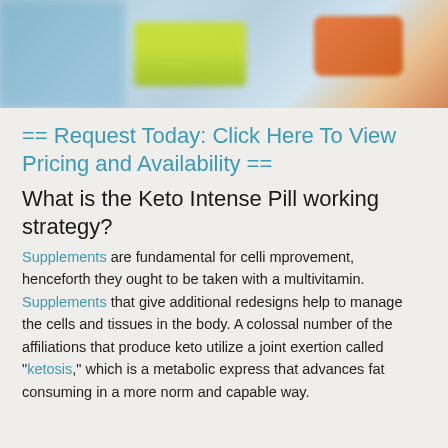[Figure (photo): Blurred product photo banner showing supplement pills/bottles in blue, yellow-green, and orange colors]
== Request Today: Click Here To View Pricing and Availability ==
What is the Keto Intense Pill working strategy?
Supplements are fundamental for celli mprovement, henceforth they ought to be taken with a multivitamin. Supplements that give additional redesigns help to manage the cells and tissues in the body. A colossal number of the affiliations that produce keto utilize a joint exertion called "ketosis," which is a metabolic express that advances fat consuming in a more norm and capable way.